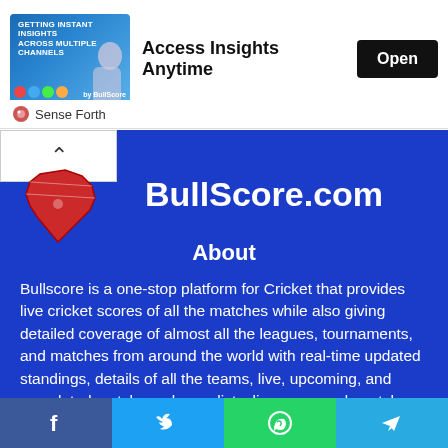[Figure (infographic): Advertisement banner: image of woman with text 'Getting instant insights across multiple channels' with colorful circle icons, headline 'Access Insights Anytime' and a black 'Open' button, with 'Sense Forth' logo below]
BullScore.com
About
Bullscore is a one-stop platform for Cricket that provides live cricket scores of all the matches while also giving detailed coverage of almost all the leagues, tournaments, and matches from around the world with real-time updated standings, details of all the teams, live, upcoming, and completed matches, players lists, live scorecard, match details such as venue, toss, head to head results, etc. Live scores from Live Cricket matches are updated with great accuracy and speed, making sure that nothing is missed out. All the International and National Cricket tournaments such as the World cup, Champions Trophy, Indian premier league, Big Bash League, Under-19 tournaments, etc